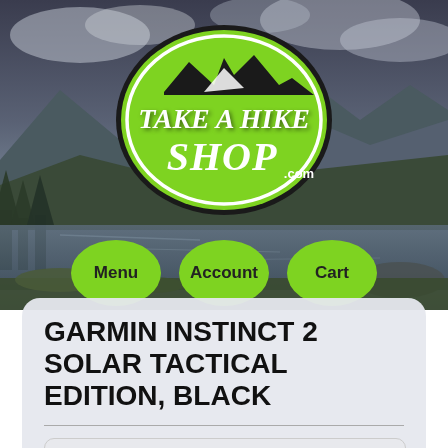[Figure (photo): Scenic outdoor landscape with lake, mountains, trees, and cloudy sky serving as website header background]
[Figure (logo): Take a Hike Shop .com oval green logo with mountain silhouette and white text]
Menu
Account
Cart
GARMIN INSTINCT 2 SOLAR TACTICAL EDITION, BLACK